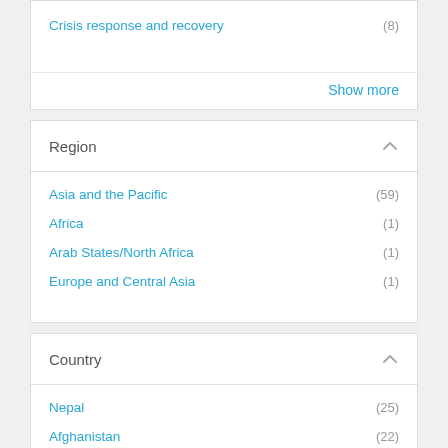Crisis response and recovery (8)
Show more
Region
Asia and the Pacific (59)
Africa (1)
Arab States/North Africa (1)
Europe and Central Asia (1)
Country
Nepal (25)
Afghanistan (22)
Bangladesh (15)
Timor-Leste (13)
Pakistan (11)